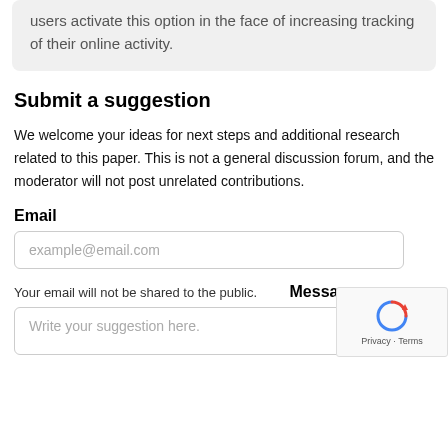users activate this option in the face of increasing tracking of their online activity.
Submit a suggestion
We welcome your ideas for next steps and additional research related to this paper. This is not a general discussion forum, and the moderator will not post unrelated contributions.
Email
example@email.com
Your email will not be shared to the public.
Message
Write your suggestion here.